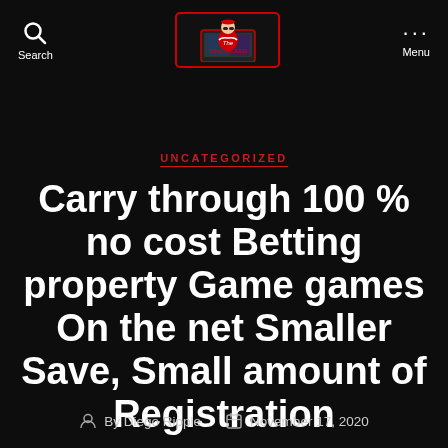Search | The Total Package | Menu
UNCATEGORIZED
Carry through 100 % no cost Betting property Game games On the net Smaller Save, Small amount of Registration
By Diego Ripple   November 17, 2020